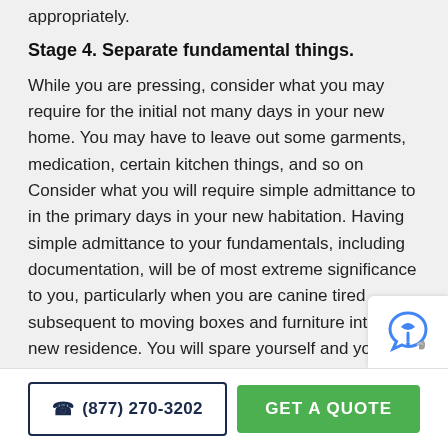appropriately.
Stage 4. Separate fundamental things.
While you are pressing, consider what you may require for the initial not many days in your new home. You may have to leave out some garments, medication, certain kitchen things, and so on Consider what you will require simple admittance to in the primary days in your new habitation. Having simple admittance to your fundamentals, including documentation, will be of most extreme significance to you, particularly when you are canine tired subsequent to moving boxes and furniture into your new residence. You will spare yourself and your family valuable
(877) 270-3202   GET A QUOTE